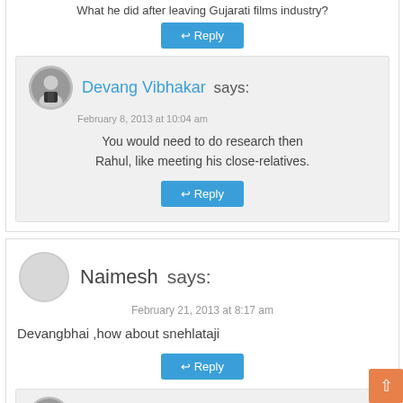What he did after leaving Gujarati films industry?
Reply
Devang Vibhakar says:
February 8, 2013 at 10:04 am
You would need to do research then Rahul, like meeting his close-relatives.
Reply
Naimesh says:
February 21, 2013 at 8:17 am
Devangbhai ,how about snehlataji
Reply
Devang Vibhakar says:
February 21, 2013 at 8:56 am